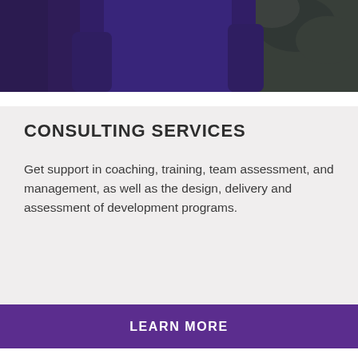[Figure (photo): Photo of a person wearing a dark purple long-sleeve shirt against a green outdoor background, partially visible, cropped to show upper body.]
CONSULTING SERVICES
Get support in coaching, training, team assessment, and management, as well as the design, delivery and assessment of development programs.
LEARN MORE
TEAMWORK ASSESSMENT
You may benefit from using the Teamwork Assessment to improve team dynamics and group